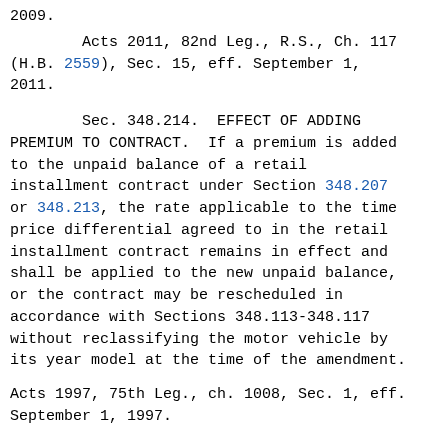2009.
Acts 2011, 82nd Leg., R.S., Ch. 117 (H.B. 2559), Sec. 15, eff. September 1, 2011.
Sec. 348.214. EFFECT OF ADDING PREMIUM TO CONTRACT. If a premium is added to the unpaid balance of a retail installment contract under Section 348.207 or 348.213, the rate applicable to the time price differential agreed to in the retail installment contract remains in effect and shall be applied to the new unpaid balance, or the contract may be rescheduled in accordance with Sections 348.113-348.117 without reclassifying the motor vehicle by its year model at the time of the amendment.
Acts 1997, 75th Leg., ch. 1008, Sec. 1, eff. September 1, 1997.